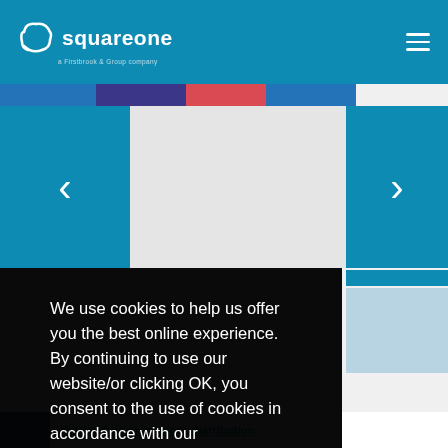[Figure (screenshot): SquareOne insurance website header with teal/blue background, white logo text 'squareone' with arc icon and subtitle 'a Firstbrook & Group company', and hamburger menu icon on the right]
[Figure (infographic): Color bar with four colored segments: blue, dark blue/purple, red, blue]
[Figure (screenshot): Carousel navigation with left arrow on teal background, center grey area, right arrow on teal background]
We use cookies to help us offer you the best online experience. By continuing to use our website/or clicking OK, you consent to the use of cookies in accordance with our privacy policy
OK
Square One announces distribution